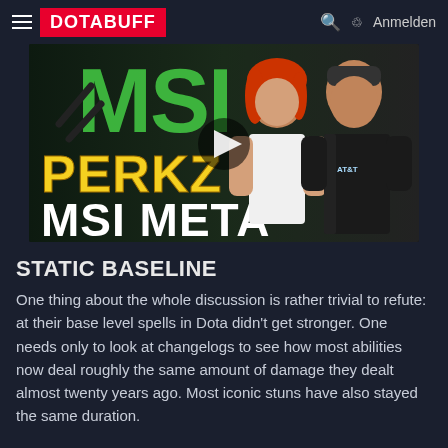DOTABUFF  Anmelden
[Figure (photo): Video thumbnail showing two people (a woman with red hair and a man in a black jersey) with text overlays reading 'PERKZ MSI META' and the MSI logo in green. A play button triangle is visible.]
STATIC BASELINE
One thing about the whole discussion is rather trivial to refute: at their base level spells in Dota didn't get stronger. One needs only to look at changelogs to see how most abilities now deal roughly the same amount of damage they dealt almost twenty years ago. Most iconic stuns have also stayed the same duration.